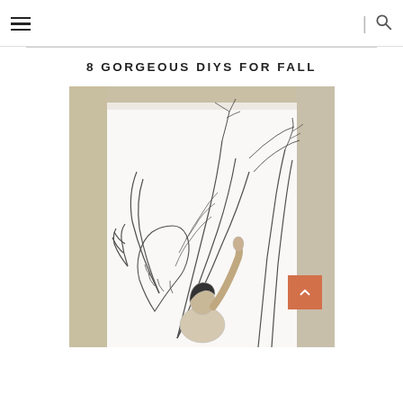≡ | 🔍
8 GORGEOUS DIYS FOR FALL
[Figure (photo): A person painting a large black-and-white tropical leaf and botanical mural on a white wall, viewed through a doorframe with tan/olive colored trim. The mural features large banana leaves, monstera leaves, and other tropical foliage drawn in outline style.]